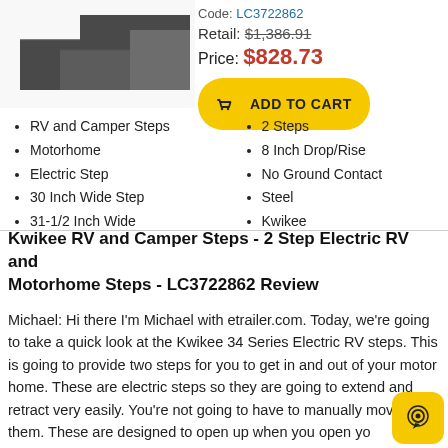[Figure (photo): Partial product image of Kwikee electric RV steps]
Code: LC3722862
Retail: $1,386.91
Price: $828.73
[Figure (other): Add to Cart button with yellow cart icon]
RV and Camper Steps
Motorhome
Electric Step
30 Inch Wide Step
31-1/2 Inch Wide
2 Steps
8 Inch Drop/Rise
No Ground Contact
Steel
Kwikee
Kwikee RV and Camper Steps - 2 Step Electric RV and Motorhome Steps - LC3722862 Review
Michael: Hi there I'm Michael with etrailer.com. Today, we're going to take a quick look at the Kwikee 34 Series Electric RV steps. This is going to provide two steps for you to get in and out of your motor home. These are electric steps so they are going to extend and retract very easily. You're not going to have to manually move them. These are designed to open up when you open your door and then retract when you close the door.